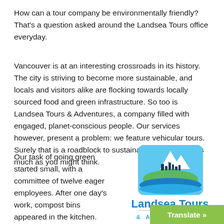How can a tour company be environmentally friendly? That's a question asked around the Landsea Tours office everyday.
Vancouver is at an interesting crossroads in its history. The city is striving to become more sustainable, and locals and visitors alike are flocking towards locally sourced food and green infrastructure. So too is Landsea Tours & Adventures, a company filled with engaged, planet-conscious people. Our services however, present a problem: we feature vehicular tours. Surely that is a roadblock to sustainability, right? Not as much as you might think.
Our task of going green started small, with a committee of twelve eager employees. After one day's work, compost bins appeared in the kitchen. After three days, a bike rack materialize
[Figure (logo): Landsea Tours & Adventures logo — blue square icon with mountain/wave/city silhouette, blue bold text 'Landsea Tours' and teal '& ADVENTURES']
Translate »